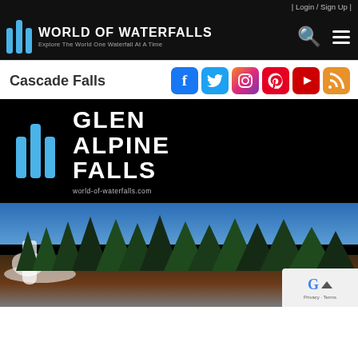| Login / Sign Up |
[Figure (logo): World of Waterfalls logo with blue vertical bars and text: World of Waterfalls - Explore The World One Waterfall At A Time]
Cascade Falls
[Figure (illustration): Social media icons: Facebook, Twitter, Instagram, Pinterest, YouTube, RSS]
[Figure (illustration): Glen Alpine Falls title card with World of Waterfalls logo and website URL world-of-waterfalls.com on black background, plus photo of waterfall surrounded by pine trees with blue sky and snow]
world-of-waterfalls.com